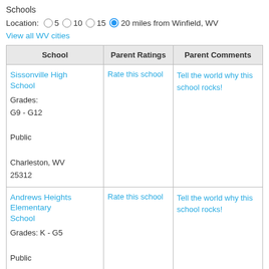Schools
Location: 5  10  15  20 miles from Winfield, WV
View all WV cities
| School | Parent Ratings | Parent Comments |
| --- | --- | --- |
| Sissonville High School
Grades:
G9 - G12
Public
Charleston, WV 25312 | Rate this school | Tell the world why this school rocks! |
| Andrews Heights Elementary School
Grades: K - G5
Public
Tornado, WV 25202 | Rate this school | Tell the world why this school rocks! |